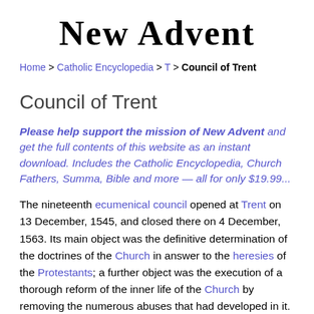New Advent
Home > Catholic Encyclopedia > T > Council of Trent
Council of Trent
Please help support the mission of New Advent and get the full contents of this website as an instant download. Includes the Catholic Encyclopedia, Church Fathers, Summa, Bible and more — all for only $19.99...
The nineteenth ecumenical council opened at Trent on 13 December, 1545, and closed there on 4 December, 1563. Its main object was the definitive determination of the doctrines of the Church in answer to the heresies of the Protestants; a further object was the execution of a thorough reform of the inner life of the Church by removing the numerous abuses that had developed in it.